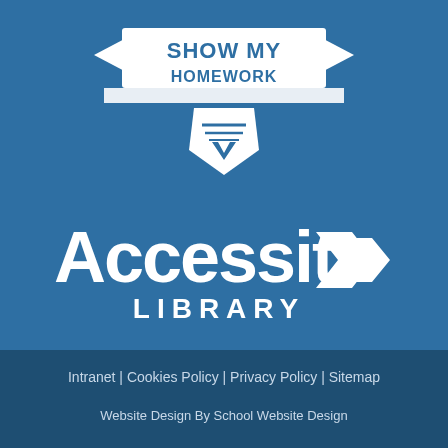[Figure (logo): Show My Homework logo — banner/ribbon style with text SHOW MY HOMEWORK and a shield/chevron graphic beneath, all in white on blue background]
[Figure (logo): Accessit Library logo — white bold text 'Accessit' with two horizontal chevron arrows to the right, and 'LIBRARY' in spaced capitals beneath, on blue background]
Intranet | Cookies Policy | Privacy Policy | Sitemap
Website Design By School Website Design